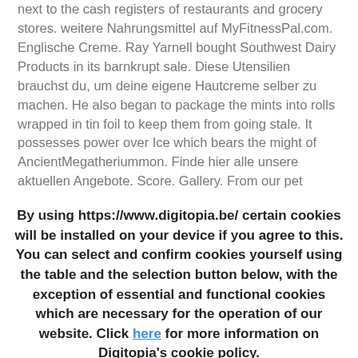next to the cash registers of restaurants and grocery stores. weitere Nahrungsmittel auf MyFitnessPal.com. Englische Creme. Ray Yarnell bought Southwest Dairy Products in its barnkrupt sale. Diese Utensilien brauchst du, um deine eigene Hautcreme selber zu machen. He also began to package the mints into rolls wrapped in tin foil to keep them from going stale. It possesses power over Ice which bears the might of AncientMegatheriummon. Finde hier alle unsere aktuellen Angebote. Score. Gallery. From our pet hospitals to farmers in our supply chain, new tales are unfolding every day. Sweetums is Pawnee's leading sweet treat
By using https://www.digitopia.be/ certain cookies will be installed on your device if you agree to this. You can select and confirm cookies yourself using the table and the selection button below, with the exception of essential and functional cookies which are necessary for the operation of our website. Click here for more information on Digitopia's cookie policy.